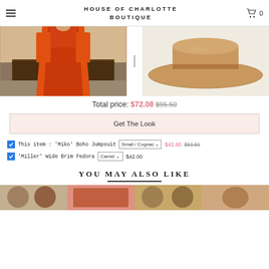HOUSE OF CHARLOTTE BOUTIQUE
[Figure (photo): Orange boho jumpsuit on model near wooden table]
[Figure (photo): Camel wide brim fedora hat]
Total price: $72.08 $95.50
Get The Look
This item : 'Miko' Boho Jumpsuit  Small / Cognac  $42.80  $53.50
'Miller' Wide Brim Fedora  Camel  $42.00
YOU MAY ALSO LIKE
[Figure (photo): You May Also Like product thumbnails]